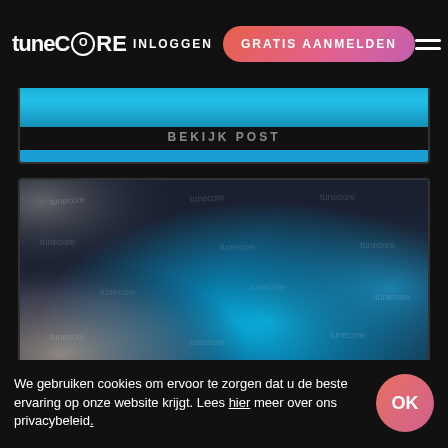[Figure (screenshot): TuneCore website navigation bar with logo, INLOGGEN link, GRATIS AANMELDEN button, and hamburger menu]
[Figure (screenshot): Website card with cyan/blue gradient background and BEKIJK POST text with blue bar at bottom]
[Figure (illustration): Abstract blurred gradient image transitioning from dark grey on the left to bright cyan/blue in the center-right, with watermark text scattered across]
We gebruiken cookies om ervoor te zorgen dat u de beste ervaring op onze website krijgt. Lees hier meer over ons privacybeleid.